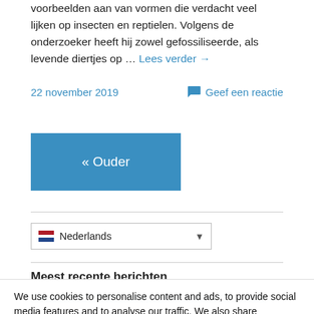voorbeelden aan van vormen die verdacht veel lijken op insecten en reptielen. Volgens de onderzoeker heeft hij zowel gefossiliseerde, als levende diertjes op … Lees verder →
22 november 2019
Geef een reactie
« Ouder
Nederlands
Meest recente berichten
'Great Reset'-Poster schrijft citaat onterecht toe aan Klaus Schwab
We use cookies to personalise content and ads, to provide social media features and to analyse our traffic. We also share information about your use of our site with our social media, advertising and analytics partners.
Cookies settings   ✓ Accept   Cookies settings